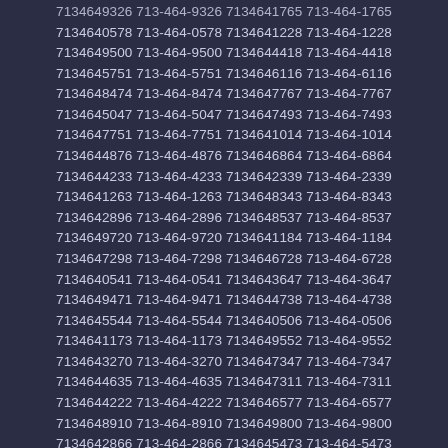7134649326 713-464-9326 7134641765 713-464-1765
7134640578 713-464-0578 7134641228 713-464-1228
7134649500 713-464-9500 7134644418 713-464-4418
7134645751 713-464-5751 7134646116 713-464-6116
7134648474 713-464-8474 7134647767 713-464-7767
7134645047 713-464-5047 7134647493 713-464-7493
7134647751 713-464-7751 7134641014 713-464-1014
7134644876 713-464-4876 7134646864 713-464-6864
7134644233 713-464-4233 7134642339 713-464-2339
7134641263 713-464-1263 7134648343 713-464-8343
7134642896 713-464-2896 7134648537 713-464-8537
7134649720 713-464-9720 7134641184 713-464-1184
7134647298 713-464-7298 7134646728 713-464-6728
7134640541 713-464-0541 7134643647 713-464-3647
7134649471 713-464-9471 7134644738 713-464-4738
7134645544 713-464-5544 7134640506 713-464-0506
7134641173 713-464-1173 7134649552 713-464-9552
7134643270 713-464-3270 7134647347 713-464-7347
7134644635 713-464-4635 7134647311 713-464-7311
7134644222 713-464-4222 7134646577 713-464-6577
7134648910 713-464-8910 7134649800 713-464-9800
7134642866 713-464-2866 7134645473 713-464-5473
7134640690 713-464-0690 7134645798 713-464-5798
7134643362 713-464-3362 7134643031 713-464-3031
7134649495 713-464-9495 7134642398 713-464-2398
7134649310 713-464-9310 7134642158 713-464-2158
7134649120 713-464-9120 7134641570 713-464-1570
7134643279 713-464-3279 7134645620 713-464-5620
7134644591 713-464-4591 7134646595 713-464-6595